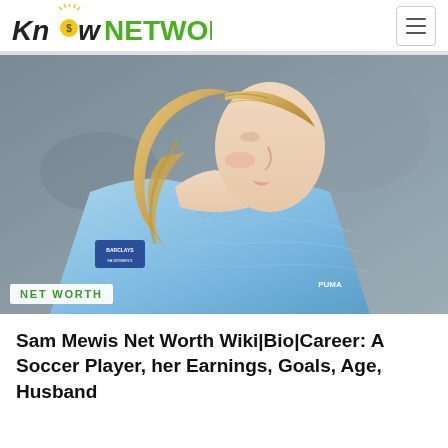KnowNETWORTH
[Figure (photo): Close-up photo of a female soccer player with blonde hair, wearing a light blue Manchester City jersey with Puma logo and Barclays patch]
NET WORTH
Sam Mewis Net Worth Wiki|Bio|Career: A Soccer Player, her Earnings, Goals, Age, Husband